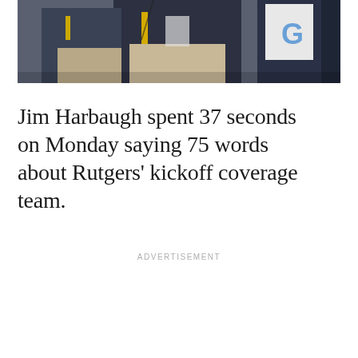[Figure (photo): Photo of Jim Harbaugh on the sideline, wearing a navy jacket, surrounded by other people including someone in a white shirt with 'G' visible]
Jim Harbaugh spent 37 seconds on Monday saying 75 words about Rutgers' kickoff coverage team.
ADVERTISEMENT